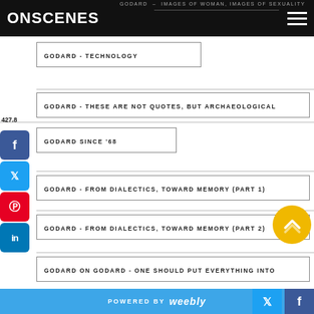GODARD - IMAGES OF WOMAN, IMAGES OF SEXUALITY
ONSCENES
GODARD - TECHNOLOGY
GODARD - THESE ARE NOT QUOTES, BUT ARCHAEOLOGICAL
427.8
GODARD SINCE '68
GODARD - FROM DIALECTICS, TOWARD MEMORY (PART 1)
GODARD - FROM DIALECTICS, TOWARD MEMORY (PART 2)
GODARD ON GODARD - ONE SHOULD PUT EVERYTHING INTO
POWERED BY weebly